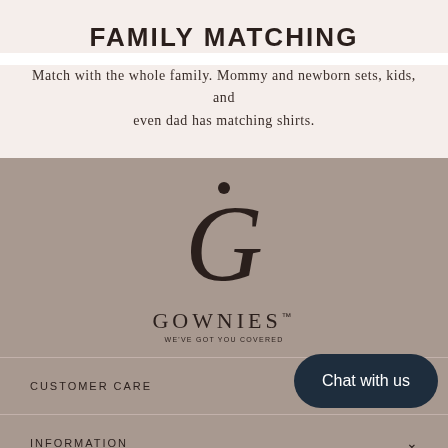FAMILY MATCHING
Match with the whole family. Mommy and newborn sets, kids, and even dad has matching shirts.
[Figure (logo): Gownies brand logo — a stylized letter G with a dot above, followed by the text GOWNIES and tagline WE'VE GOT YOU COVERED]
CUSTOMER CARE
INFORMATION
SIGN UP AND SAVE
Chat with us